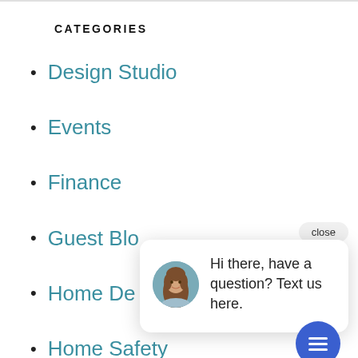CATEGORIES
Design Studio
Events
Finance
Guest Blo[g]
Home De[sign]
Home Safety
Homeowner Tips
[Figure (screenshot): Chat popup widget with avatar photo of a woman with long brown hair, a close button, and the message 'Hi there, have a question? Text us here.' along with a blue circular chat icon button in the bottom right corner.]